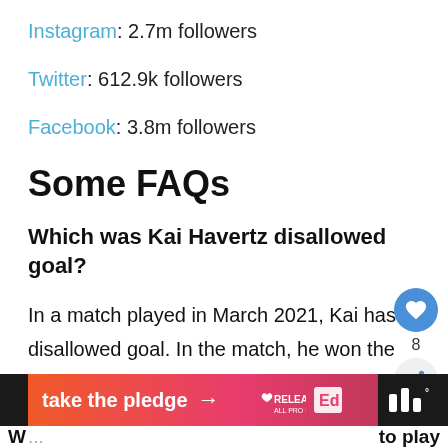Instagram: 2.7m followers
Twitter: 612.9k followers
Facebook: 3.8m followers
Some FAQs
Which was Kai Havertz disallowed goal?
In a match played in March 2021, Kai has a disallowed goal. In the match, he won the penalty involved in the goal but his goal was disqualified.
[Figure (infographic): Ad banner: take the pledge with arrow, Release logo, Ed logo on gradient pink-orange background with dark side panels]
W... to play